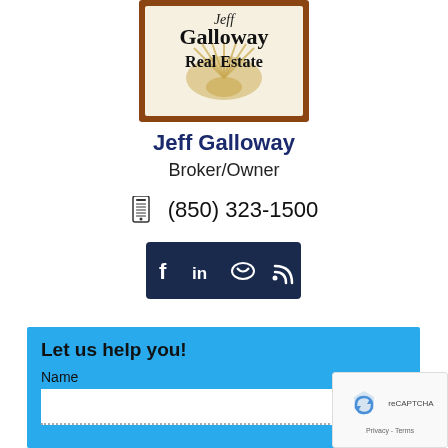[Figure (logo): Jeff Galloway Real Estate logo — brown-bordered square with a seashell/fan graphic and the text 'Jeff Galloway Real Estate' in serif font on a cream background]
Jeff Galloway
Broker/Owner
(850) 323-1500
[Figure (other): Dark navy social media icon bar containing Facebook, LinkedIn, Klout, and RSS feed icons in white on dark background]
Let us help you!
Name
[Figure (other): reCAPTCHA widget with Google logo and 'Privacy - Terms' text]